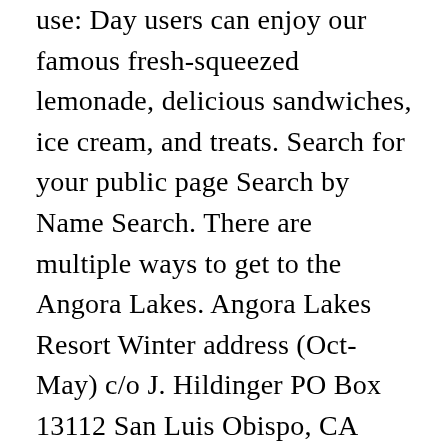use: Day users can enjoy our famous fresh-squeezed lemonade, delicious sandwiches, ice cream, and treats. Search for your public page Search by Name Search. There are multiple ways to get to the Angora Lakes. Angora Lakes Resort Winter address (Oct- May) c/o J. Hildinger PO Box 13112 San Luis Obispo, CA 93406 Summer address (June-Sept) PO Box 8897 S. Lake Tahoe, CA 96158 (530) 541-2092 Dear Friends, Thank you for your interest in Angora Lakes Resort. Tahoe Queen 4850 ft. You can rent paddle boards, canoes, and row boats for $24 an hour. However, there are two small, untouched gorgeous lakes in Angora that are definitely worth hiking to. Stateline 2.0 mi. View Contact Info. Background & Reputation